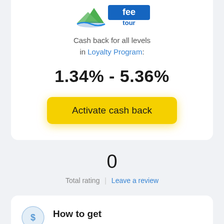[Figure (logo): Fee Tour logo with mountain and water graphic in green/blue with blue text reading 'fee tour']
Cash back for all levels in Loyalty Program:
1.34% - 5.36%
Activate cash back
0
Total rating | Leave a review
How to get